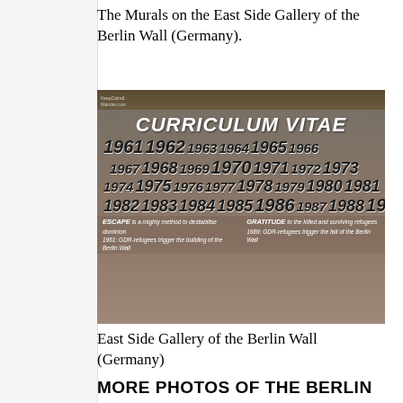The Murals on the East Side Gallery of the Berlin Wall (Germany).
[Figure (photo): Photo of the 'Curriculum Vitae' mural on the East Side Gallery of the Berlin Wall, showing years from 1961 to 1989 painted in large italic numbers, with text reading 'ESCAPE is a mighty method to destabilise dominion / 1961: GDR-refugees trigger the building of the Berlin Wall' and 'GRATITUDE to the killed and surviving refugees / 1989: GDR-refugees trigger the fall of the Berlin Wall'. Watermark: KeepCalmAndWander.com]
East Side Gallery of the Berlin Wall (Germany)
MORE PHOTOS OF THE BERLIN